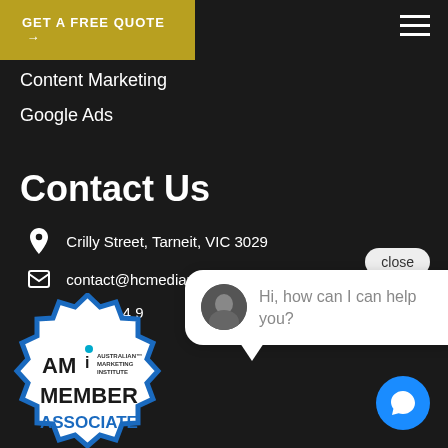[Figure (screenshot): GET A FREE QUOTE button with arrow on gold background, top left]
[Figure (screenshot): Hamburger menu icon, top right]
Content Marketing
Google Ads
Contact Us
Crilly Street, Tarneit, VIC 3029
contact@hcmediamelbourne.com.au
(+61) 044 9
[Figure (screenshot): Chat popup with avatar photo, close button, and message: Hi, how can I help you?]
[Figure (logo): AMI Australian Marketing Institute MEMBER ASSOCIATE badge]